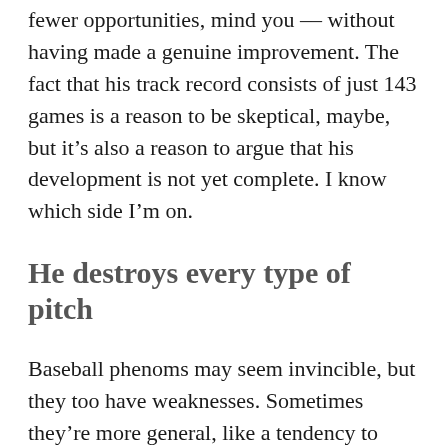fewer opportunities, mind you -- without having made a genuine improvement. The fact that his track record consists of just 143 games is a reason to be skeptical, maybe, but it's also a reason to argue that his development is not yet complete. I know which side I'm on.
He destroys every type of pitch
Baseball phenoms may seem invincible, but they too have weaknesses. Sometimes they're more general, like a tendency to swing at pitches outside the zone. Or they're specific, like being late to fastballs up in the zone.